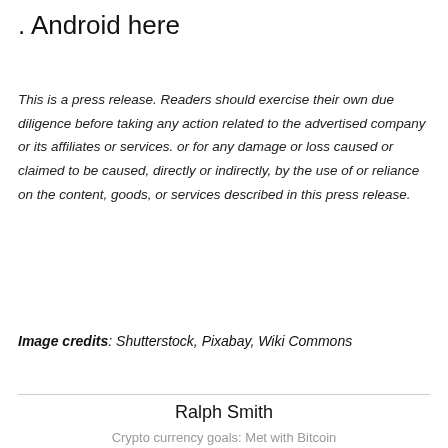. Android here
This is a press release. Readers should exercise their own due diligence before taking any action related to the advertised company or its affiliates or services. or for any damage or loss caused or claimed to be caused, directly or indirectly, by the use of or reliance on the content, goods, or services described in this press release.
Image credits: Shutterstock, Pixabay, Wiki Commons
Ralph Smith
Crypto currency goals: Met with Bitcoin